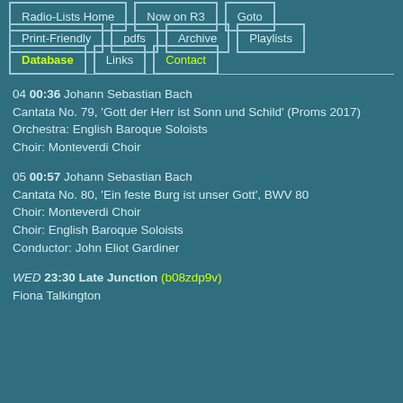Radio-Lists Home
Now on R3
Goto
Print-Friendly
pdfs
Archive
Playlists
Database
Links
Contact
04 00:36 Johann Sebastian Bach
Cantata No. 79, 'Gott der Herr ist Sonn und Schild' (Proms 2017)
Orchestra: English Baroque Soloists
Choir: Monteverdi Choir
05 00:57 Johann Sebastian Bach
Cantata No. 80, 'Ein feste Burg ist unser Gott', BWV 80
Choir: Monteverdi Choir
Choir: English Baroque Soloists
Conductor: John Eliot Gardiner
WED 23:30 Late Junction (b08zdp9v)
Fiona Talkington